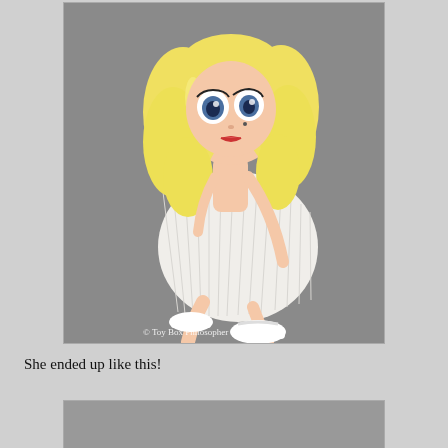[Figure (photo): A Blythe-style doll with large blue eyes, long wavy blonde hair, wearing a white pleated dress and white sandals, posed sitting/leaning on a gray background. Watermark reads '© Toy Box Philosopher'.]
She ended up like this!
[Figure (photo): Bottom portion of a second photo, mostly gray background, beginning to show at the bottom of the page.]